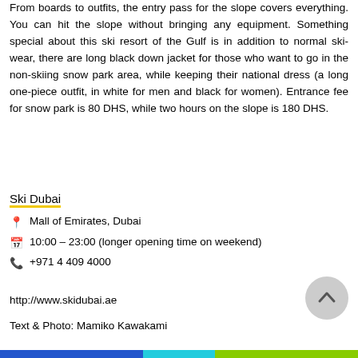From boards to outfits, the entry pass for the slope covers everything. You can hit the slope without bringing any equipment. Something special about this ski resort of the Gulf is in addition to normal ski-wear, there are long black down jacket for those who want to go in the non-skiing snow park area, while keeping their national dress (a long one-piece outfit, in white for men and black for women). Entrance fee for snow park is 80 DHS, while two hours on the slope is 180 DHS.
Ski Dubai
Mall of Emirates, Dubai
10:00 – 23:00 (longer opening time on weekend)
+971 4 409 4000
http://www.skidubai.ae
Text & Photo: Mamiko Kawakami